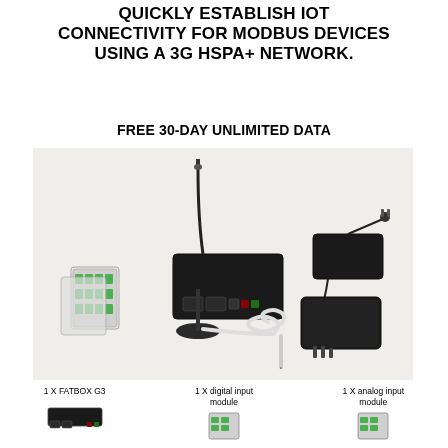QUICKLY ESTABLISH IOT CONNECTIVITY FOR MODBUS DEVICES USING A 3G HSPA+ NETWORK.
FREE 30-DAY UNLIMITED DATA
[Figure (photo): Product kit photo showing a FATBOX G3 gateway with antenna, digital input module, analog input module, power adapters, cable with probe, and ethernet cable on a light beige background.]
1 X FATBOX G3
1 X digital input module
1 X analog input module
[Figure (photo): Small illustration of FATBOX G3 device]
[Figure (photo): Small illustration of digital input module]
[Figure (photo): Small illustration of analog input module]